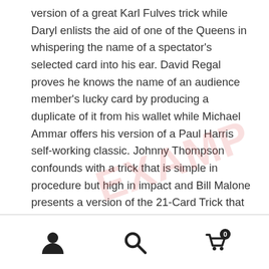version of a great Karl Fulves trick while Daryl enlists the aid of one of the Queens in whispering the name of a spectator's selected card into his ear. David Regal proves he knows the name of an audience member's lucky card by producing a duplicate of it from his wallet while Michael Ammar offers his version of a Paul Harris self-working classic. Johnny Thompson confounds with a trick that is simple in procedure but high in impact and Bill Malone presents a version of the 21-Card Trick that will fool anyone who thinks they know it. Daryl returns, turning a basic force into a major effect, while finally, Eugene Burger uses a simple strategy to demonstrate how a deck of cards has an uncanny ability to locate cards by itself simply by spelling to them.
navigation bar with user, search, and cart icons